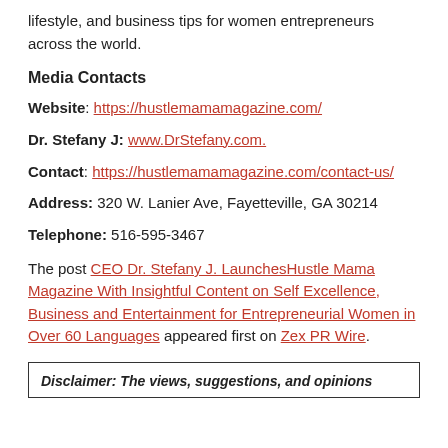lifestyle, and business tips for women entrepreneurs across the world.
Media Contacts
Website: https://hustlemamamagazine.com/
Dr. Stefany J: www.DrStefany.com.
Contact: https://hustlemamamagazine.com/contact-us/
Address: 320 W. Lanier Ave, Fayetteville, GA 30214
Telephone: 516-595-3467
The post CEO Dr. Stefany J. LaunchesHustle Mama Magazine With Insightful Content on Self Excellence, Business and Entertainment for Entrepreneurial Women in Over 60 Languages appeared first on Zex PR Wire.
Disclaimer: The views, suggestions, and opinions